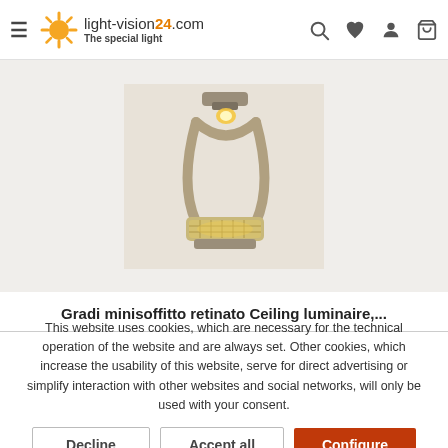light-vision24.com — The special light
[Figure (photo): A ceiling luminaire product photo showing a semi-circular metallic arm lamp with a grid-style diffuser, mounted on a wall bracket, warm light glow visible.]
Gradi minisoffitto retinato Ceiling luminaire,...
This website uses cookies, which are necessary for the technical operation of the website and are always set. Other cookies, which increase the usability of this website, serve for direct advertising or simplify interaction with other websites and social networks, will only be used with your consent.
Decline
Accept all
Configure